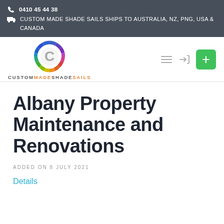0410 45 44 38
CUSTOM MADE SHADE SAILS SHIPS TO AUSTRALIA, NZ, PNG, USA & CANADA
[Figure (logo): Custom Made Shade Sails logo: colorful segmented ring with a grey 'C' in center, and text CUSTOMMADESHADESAILS below]
Albany Property Maintenance and Renovations
ADDED ON 8 JULY 2021
Details